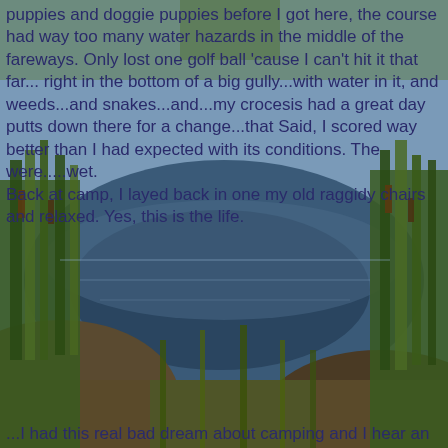[Figure (photo): Outdoor photo of a pond or water hazard surrounded by tall reeds, cattails, and green vegetation. The water reflects the sky and surrounding plants. The scene appears to be a golf course water hazard or rural pond. Text is overlaid on top of the image.]
puppies and doggie puppies before I got here, the course had way too many water hazards in the middle of the fareways. Only lost one golf ball 'cause I can't hit it that far... right in the bottom of a big gully...with water in it, and weeds...and snakes...and...my crocesis had a great day putts down there for a change...that Said, I scored way better than I had expected with its conditions. The were.....wet.
Back at camp, I layed back in one my old raggidy chairs and relaxed. Yes, this is the life.
...I had this real bad dream about camping and I hear an awful sound what waked me up really quick. I thought that I was in truck stop somewhere. Weren't nuttin but a big diesel thash truck with "cherry bombs"...glass pacs...straight pipes... slam'n and bang'n a dumpster up and down. He were pick it up, then drop into the can. As if 75 people needed to s... all night. You last all! I'm still mad in the ...in the ...